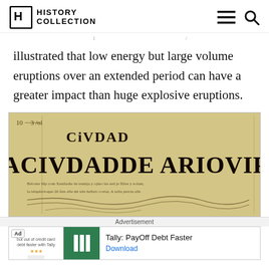HISTORY COLLECTION
illustrated that low energy but large volume eruptions over an extended period can have a greater impact than huge explosive eruptions.
[Figure (photo): Old manuscript or historical document page showing the text 'CIVDAD LACIVDADDE ARIOVIPA' in large decorative lettering, with handwritten text and scroll illustrations below. Page number '10 3 3 / fol.' visible in top left corner.]
Advertisement
Tally: PayOff Debt Faster